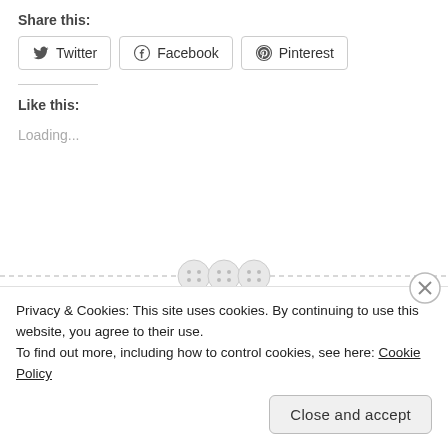Share this:
[Figure (screenshot): Social share buttons: Twitter, Facebook, Pinterest]
Like this:
Loading...
[Figure (other): Dashed horizontal line with three circular button/smiley icons in the center]
JUST ME · THOUGHTS
Privacy & Cookies: This site uses cookies. By continuing to use this website, you agree to their use.
To find out more, including how to control cookies, see here: Cookie Policy
Close and accept